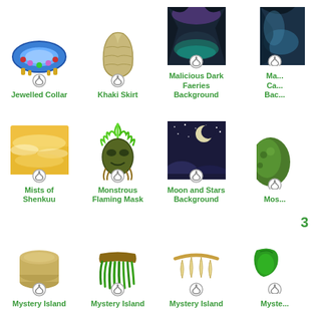[Figure (illustration): Jewelled Collar item - blue collar with gems]
Jewelled Collar
[Figure (illustration): Khaki Skirt item - tan/beige skirt]
Khaki Skirt
[Figure (illustration): Malicious Dark Faeries Background - dark cave background]
Malicious Dark Faeries Background
[Figure (illustration): Partial item cut off on right edge - cave background]
Ma... Ca... Bac...
[Figure (illustration): Mists of Shenkuu - golden misty background]
Mists of Shenkuu
[Figure (illustration): Monstrous Flaming Mask - green flaming mask with feathers]
Monstrous Flaming Mask
[Figure (illustration): Moon and Stars Background - night sky background]
Moon and Stars Background
[Figure (illustration): Partial item cut off on right - green mossy character]
Mos...
[Figure (illustration): Mystery Island item - coin/disc shaped item]
Mystery Island
[Figure (illustration): Mystery Island item - green grass skirt]
Mystery Island
[Figure (illustration): Mystery Island item - claw/tooth necklace]
Mystery Island
[Figure (illustration): Mystery Island item partially cut off - green item with number 3]
Myste...